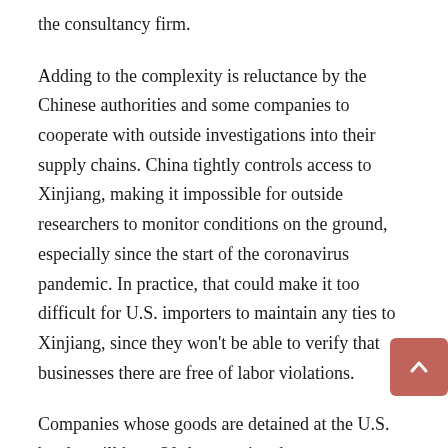the consultancy firm.
Adding to the complexity is reluctance by the Chinese authorities and some companies to cooperate with outside investigations into their supply chains. China tightly controls access to Xinjiang, making it impossible for outside researchers to monitor conditions on the ground, especially since the start of the coronavirus pandemic. In practice, that could make it too difficult for U.S. importers to maintain any ties to Xinjiang, since they won’t be able to verify that businesses there are free of labor violations.
Companies whose goods are detained at the U.S. border will have 30 days to give the government “clear and convincing evidence” that their products don’t violate the law. Mr. Bersin said it would likely take customs officials several years to build out a comprehensive enforcement system.